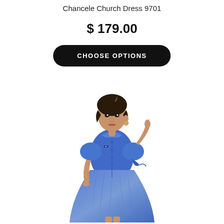Chancele Church Dress 9701
$ 179.00
CHOOSE OPTIONS
[Figure (photo): A woman wearing a royal blue jacquard midi church dress with puff sleeves, a peter pan collar, a brooch, and tie detail on the sleeve. The dress has a button-front design and an A-line silhouette.]